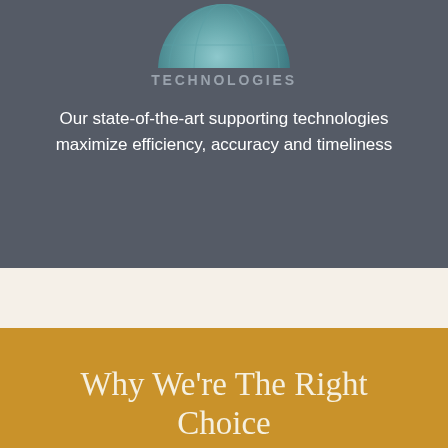[Figure (illustration): Partial globe/sphere visible at top, teal-blue color, partially cropped]
TECHNOLOGIES
Our state-of-the-art supporting technologies maximize efficiency, accuracy and timeliness
Why We're The Right Choice